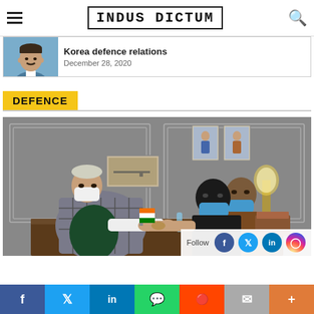INDUS DICTUM
Korea defence relations
December 28, 2020
DEFENCE
[Figure (photo): Two men wearing masks shaking hands across a desk in an office setting, with framed portraits on the wall behind them.]
f  |  Twitter  |  in  |  WhatsApp  |  Reddit  |  Email  |  +